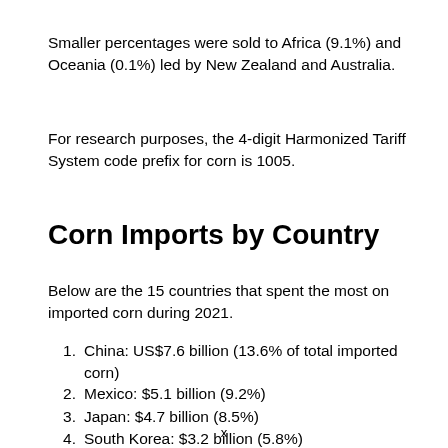Smaller percentages were sold to Africa (9.1%) and Oceania (0.1%) led by New Zealand and Australia.
For research purposes, the 4-digit Harmonized Tariff System code prefix for corn is 1005.
Corn Imports by Country
Below are the 15 countries that spent the most on imported corn during 2021.
China: US$7.6 billion (13.6% of total imported corn)
Mexico: $5.1 billion (9.2%)
Japan: $4.7 billion (8.5%)
South Korea: $3.2 billion (5.8%)
x